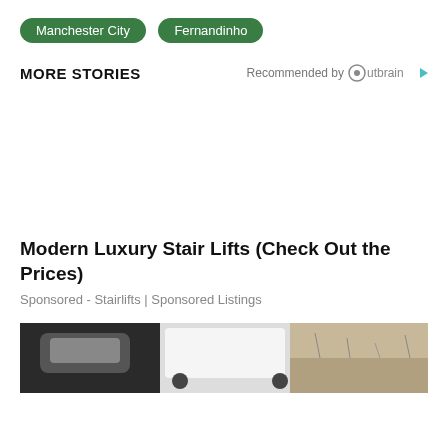Manchester City
Fernandinho
MORE STORIES
Recommended by Outbrain
Modern Luxury Stair Lifts (Check Out the Prices)
Sponsored - Stairlifts | Sponsored Listings
[Figure (photo): Bottom portion of a photo showing a car and outdoor scene]